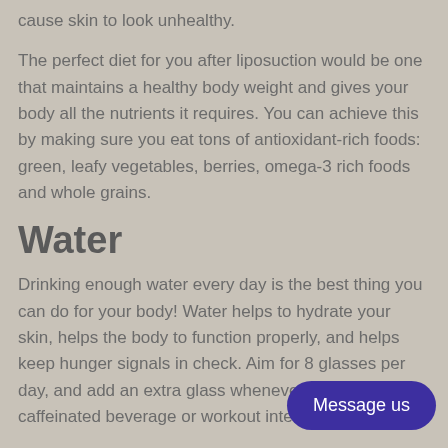cause skin to look unhealthy.
The perfect diet for you after liposuction would be one that maintains a healthy body weight and gives your body all the nutrients it requires. You can achieve this by making sure you eat tons of antioxidant-rich foods: green, leafy vegetables, berries, omega-3 rich foods and whole grains.
Water
Drinking enough water every day is the best thing you can do for your body! Water helps to hydrate your skin, helps the body to function properly, and helps keep hunger signals in check. Aim for 8 glasses per day, and add an extra glass whenever you drink a caffeinated beverage or workout intensely.
Exercise
Working out isn't just for losing weight – it's a grea